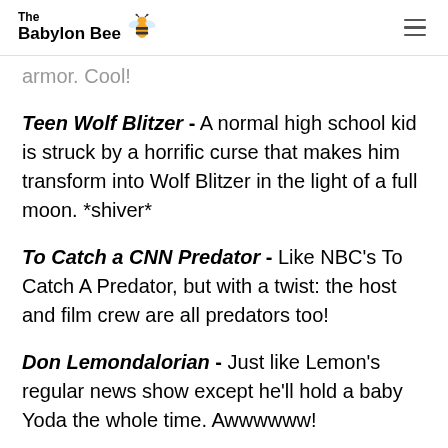The Babylon Bee
armor. Cool!
Teen Wolf Blitzer - A normal high school kid is struck by a horrific curse that makes him transform into Wolf Blitzer in the light of a full moon. *shiver*
To Catch a CNN Predator - Like NBC's To Catch A Predator, but with a twist: the host and film crew are all predators too!
Don Lemondalorian - Just like Lemon's regular news show except he'll hold a baby Yoda the whole time. Awwwwww!